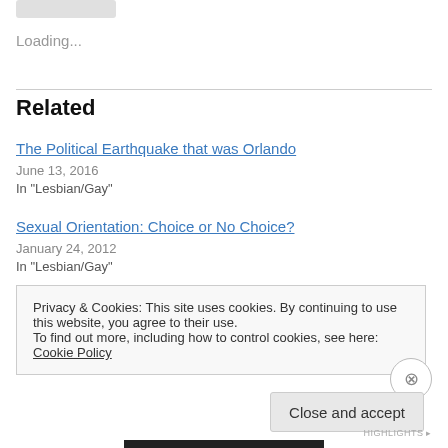Loading...
Related
The Political Earthquake that was Orlando
June 13, 2016
In "Lesbian/Gay"
Sexual Orientation: Choice or No Choice?
January 24, 2012
In "Lesbian/Gay"
Privacy & Cookies: This site uses cookies. By continuing to use this website, you agree to their use.
To find out more, including how to control cookies, see here: Cookie Policy
Close and accept